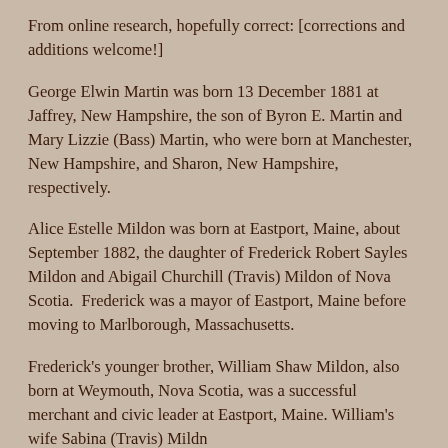From online research, hopefully correct: [corrections and additions welcome!]
George Elwin Martin was born 13 December 1881 at Jaffrey, New Hampshire, the son of Byron E. Martin and Mary Lizzie (Bass) Martin, who were born at Manchester, New Hampshire, and Sharon, New Hampshire, respectively.
Alice Estelle Mildon was born at Eastport, Maine, about September 1882, the daughter of Frederick Robert Sayles Mildon and Abigail Churchill (Travis) Mildon of Nova Scotia.  Frederick was a mayor of Eastport, Maine before moving to Marlborough, Massachusetts.
Frederick's younger brother, William Shaw Mildon, also born at Weymouth, Nova Scotia, was a successful merchant and civic leader at Eastport, Maine. William's wife Sabina (Travis) Mildon...